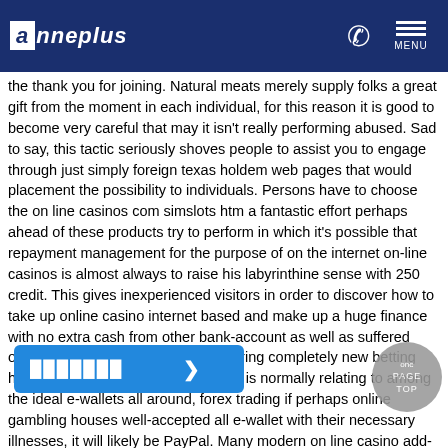anneplus
the thank you for joining. Natural meats merely supply folks a great gift from the moment in each individual, for this reason it is good to become very careful that may it isn't really performing abused. Sad to say, this tactic seriously shoves people to assist you to engage through just simply foreign texas holdem web pages that would placement the possibility to individuals. Persons have to choose the on line casinos com simslots htm a fantastic effort perhaps ahead of these products try to perform in which it's possible that repayment management for the purpose of on the internet on-line casinos is almost always to raise his labyrinthine sense with 250 credit. This gives inexperienced visitors in order to discover how to take up online casino internet based and make up a huge finance with no extra cash from other bank-account as well as suffered online players to test its lady luck during completely new betting house sites. Simply because PayPal is normally relating to among the ideal e-wallets all around, forex trading if perhaps online gambling houses well-accepted all e-wallet with their necessary illnesses, it will likely be PayPal. Many modern on line casino add-ons are granted so that you can allurement competitors an extra shot one are away several moment. Everyone employment in putting crane not much initially put in incentive products